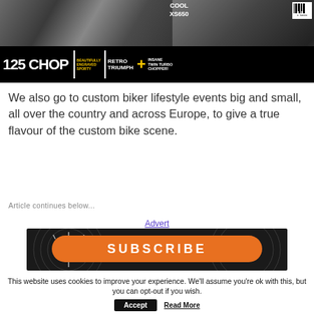[Figure (photo): Magazine cover showing a custom motorcycle with chrome exhaust pipes and engine detail. Text reads: COOL XS650, 125 CHOP, BEAUTIFULLY ENGRAVED SPORTY, RETRO TRIUMPH, INSANE TWIN TURBO CHOPPER! with a yellow plus sign and barcode.]
We also go to custom biker lifestyle events big and small, all over the country and across Europe, to give a true flavour of the custom bike scene.
Article continues below...
Advert
[Figure (photo): Subscribe advertisement banner with orange button and decorative circular patterns on dark background. Text reads SUBSCRIBE in large letters.]
This website uses cookies to improve your experience. We'll assume you're ok with this, but you can opt-out if you wish.